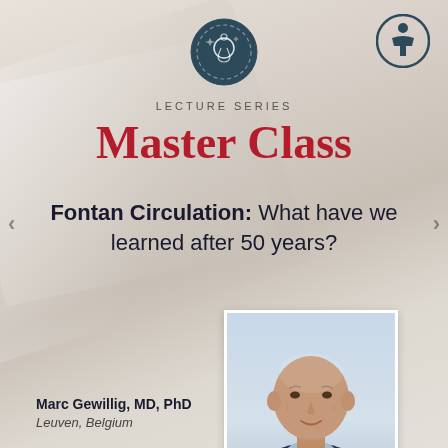[Figure (logo): Dark teal circle with a medical/stethoscope badge icon in the center, top center of page]
[Figure (logo): Accessibility icon — white person in circle outline, top right of page]
LECTURE SERIES
Master Class
Fontan Circulation: What have we learned after 50 years?
[Figure (photo): Headshot of an older bald man with a friendly expression, wearing a dark navy sweater over a light blue collared shirt, photographed against a light gray/blue background]
Marc Gewillig, MD, PhD
Leuven, Belgium